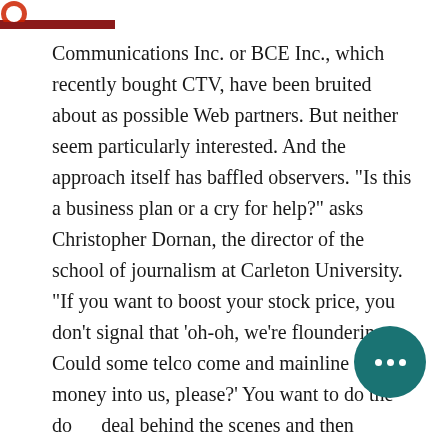Communications Inc. or BCE Inc., which recently bought CTV, have been bruited about as possible Web partners. But neither seem particularly interested. And the approach itself has baffled observers. "Is this a business plan or a cry for help?" asks Christopher Dornan, the director of the school of journalism at Carleton University. "If you want to boost your stock price, you don't signal that 'oh-oh, we're floundering. Could some telco come and mainline some money into us, please?' You want to do the deal behind the scenes and then announce with public fanfare, so the market applauds."